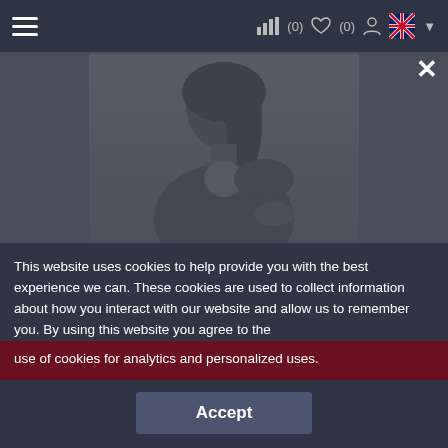≡  ıll (0) ♡(0) 🧑  🇬🇧 ▼
[Figure (photo): Black and white professional headshot of Elen Manukyan, a woman with long dark hair wearing a blazer, smiling and posing with hands on her hips.]
Elen Manukyan
Managing Director
BRN: 37495
ORN: 1370
Contact
197 properties more
This website uses cookies to help provide you with the best experience we can. These cookies are used to collect information about how you interact with our website and allow us to remember you. By using this website you agree to the use of cookies for analytics and personalized uses.
Accept